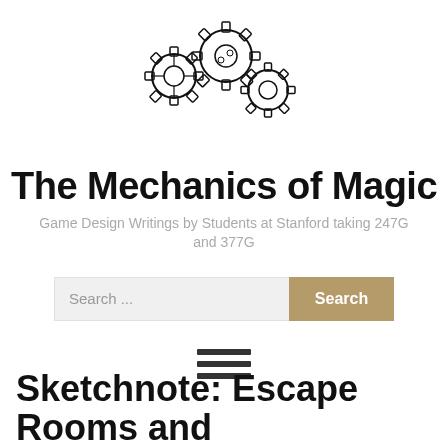[Figure (logo): Three interlocking gear cogs illustration in black line art style]
The Mechanics of Magic
Game Design Writings by Students at Stanford taking 247G and 377G
Search ...
Sketchnote: Escape Rooms and